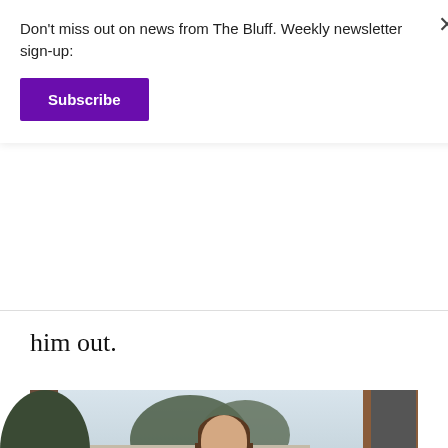Don't miss out on news from The Bluff. Weekly newsletter sign-up:
Subscribe
him out.
“It’s nice to have a very stress free job,” Corcoran said. “You come in, you ring people up on the register, you call it a day.”
[Figure (photo): A young woman with long brown hair smiling outdoors on a college campus, with trees and a brick building in the background.]